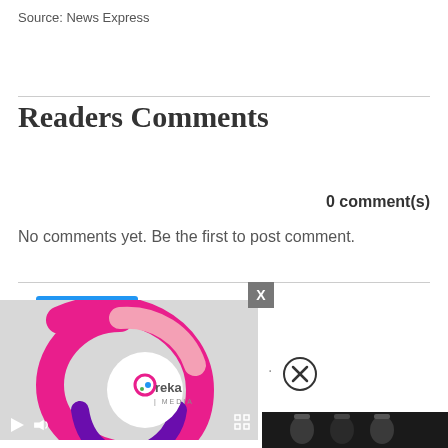Source: News Express
Readers Comments
Post comment
0 comment(s)
No comments yet. Be the first to post comment.
[Figure (screenshot): Ureka Media video player with play button, volume icon, expand icon, and a close X button overlay. Shows Ureka Media logo on a gray background. A separate close circle button appears to the right. Bottom right shows partial view of a photo with people in hard hats.]